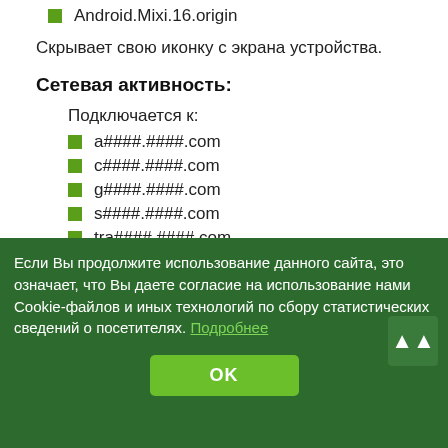Android.Mixi.16.origin
Скрывает свою иконку с экрана устройства.
Сетевая активность:
Подключается к:
a####.####.com
c####.####.com
g####.####.com
s####.####.com
tra####.####.com
Запросы HTTP GET:
c####.####.com/down/netservice.apk
g####.####.com/cr/sv/getGoFile?name=####
s####.####.com/rtf/6115e9ef6b1e39917b41f5e37995...
Если Вы продолжите использование данного сайта, это означает, что Вы даете согласие на использование нами Cookie-файлов и иных технологий по сбору статистических сведений о посетителях. Подробнее
OK